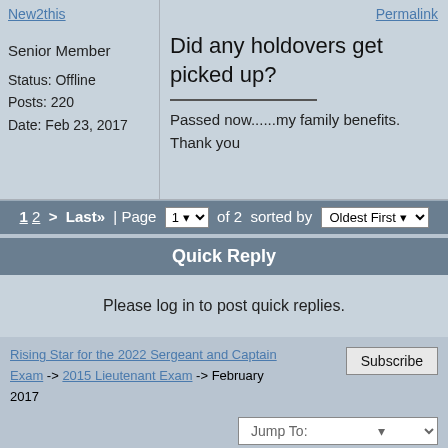New2this
Permalink
Senior Member
Status: Offline
Posts: 220
Date: Feb 23, 2017
Did any holdovers get picked up?
Passed now......my family benefits. Thank you
1 2 > Last» | Page 1 of 2 sorted by Oldest First
Quick Reply
Please log in to post quick replies.
Rising Star for the 2022 Sergeant and Captain Exam -> 2015 Lieutenant Exam -> February 2017
Subscribe
Jump To: